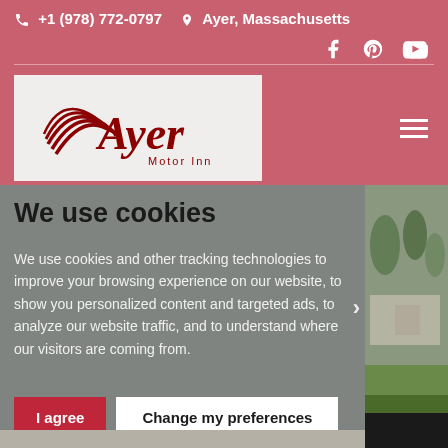📞 +1 (978) 772-0797  📍 Ayer, Massachusetts
[Figure (logo): Ayer Motor Inn logo with red swoosh/wave design and italic serif text]
We use cookies
We use cookies and other tracking technologies to improve your browsing experience on our website, to show you personalized content and targeted ads, to analyze our website traffic, and to understand where our visitors are coming from.
I agree
Change my preferences